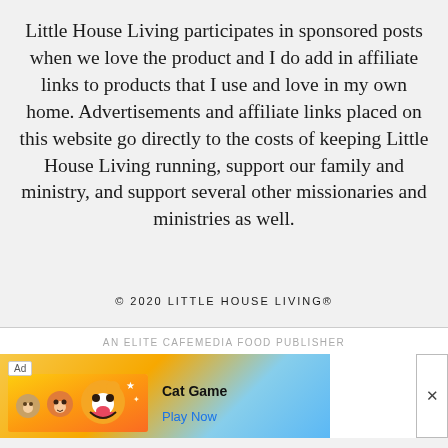Little House Living participates in sponsored posts when we love the product and I do add in affiliate links to products that I use and love in my own home. Advertisements and affiliate links placed on this website go directly to the costs of keeping Little House Living running, support our family and ministry, and support several other missionaries and ministries as well.
© 2020 LITTLE HOUSE LIVING®
AN ELITE CAFEMEDIA FOOD PUBLISHER
[Figure (other): Advertisement banner for Cat Game with cartoon cat characters and a Play Now button]